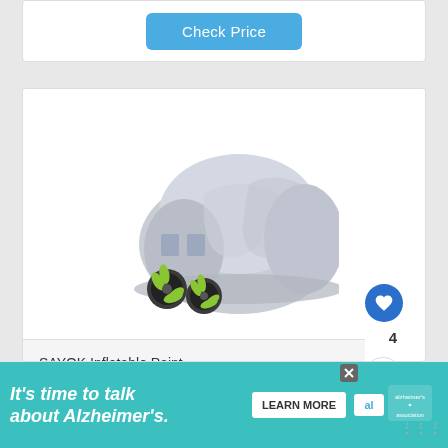[Figure (screenshot): Check Price button at top of product card]
[Figure (photo): SAYOK Inflatable Paint booth tent, silver/gray color with yellow blower fans attached, shown on white background]
SAYOK Inflatable Paint...
-
WHAT'S NEXT → 10 Best Strut Brands to...
[Figure (screenshot): Check Price button below product listing]
[Figure (infographic): Advertisement banner: It's time to talk about Alzheimer's. LEARN MORE. Alzheimer's Association logo.]